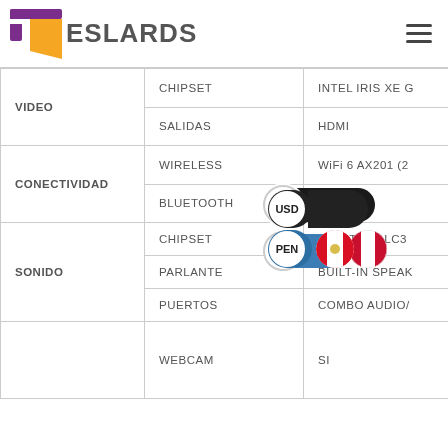[Figure (logo): Teslards logo with stylized T in purple and orange, followed by text ESLARDS in gray]
| Category | Attribute | Value |
| --- | --- | --- |
| VIDEO | CHIPSET | INTEL IRIS XE G... |
| VIDEO | SALIDAS | HDMI... |
| CONECTIVIDAD | WIRELESS | WiFi 6 AX201 (2... |
| CONECTIVIDAD | BLUETOOTH | 5.1 |
| SONIDO | CHIPSET | REALTEK ALC3... |
| SONIDO | PARLANTE | BUILT-IN SPEAK... |
| SONIDO | PUERTOS | COMBO AUDIO/... |
|  | WEBCAM | SI |